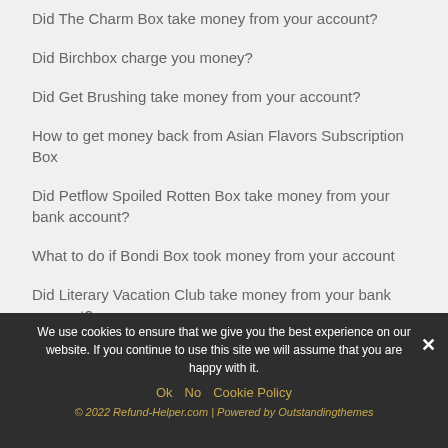Did The Charm Box take money from your account?
Did Birchbox charge you money?
Did Get Brushing take money from your account?
How to get money back from Asian Flavors Subscription Box
Did Petflow Spoiled Rotten Box take money from your bank account?
What to do if Bondi Box took money from your account
Did Literary Vacation Club take money from your bank account?
We use cookies to ensure that we give you the best experience on our website. If you continue to use this site we will assume that you are happy with it.
© 2022 Refund-Helper.com | Powered by Outstandingthemes